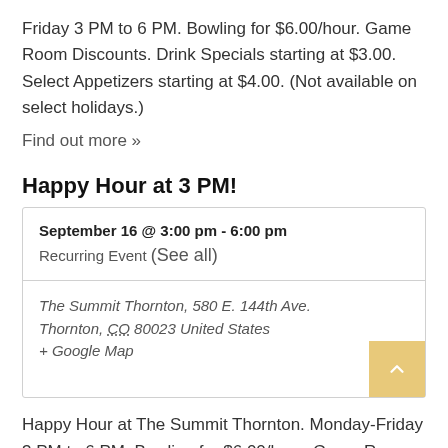Friday 3 PM to 6 PM. Bowling for $6.00/hour. Game Room Discounts. Drink Specials starting at $3.00. Select Appetizers starting at $4.00. (Not available on select holidays.)
Find out more »
Happy Hour at 3 PM!
| September 16 @ 3:00 pm - 6:00 pm | Recurring Event (See all) |
| The Summit Thornton, 580 E. 144th Ave.
Thornton, CO 80023 United States
+ Google Map |  |
Happy Hour at The Summit Thornton. Monday-Friday 3 PM to 6 PM. Bowling for $6.00/hour. Game Room Discounts. Drink Specials starting at